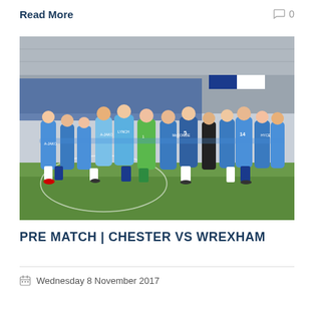Read More
0
[Figure (photo): Chester FC football players and staff in a team huddle on the pitch at a football stadium. Players wearing blue and white kits with numbers including 5 (McCombe), 1, 14. Goalkeeper in green kit. Blue stadium seats visible in background along with a blue and white checkered flag.]
PRE MATCH  |  CHESTER VS WREXHAM
Wednesday 8 November 2017